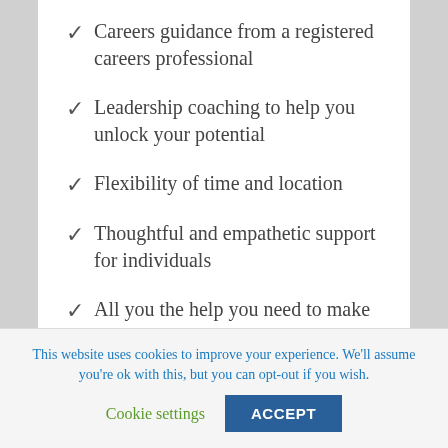Careers guidance from a registered careers professional
Leadership coaching to help you unlock your potential
Flexibility of time and location
Thoughtful and empathetic support for individuals
All you the help you need to make the next
This website uses cookies to improve your experience. We'll assume you're ok with this, but you can opt-out if you wish.
Cookie settings   ACCEPT